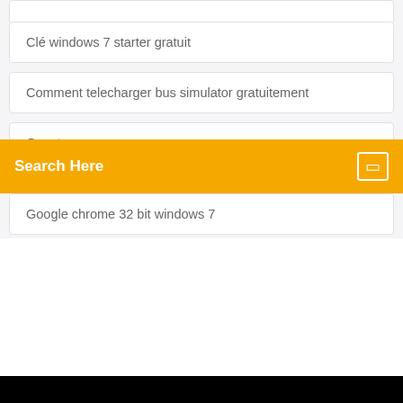Clé windows 7 starter gratuit
Comment telecharger bus simulator gratuitement
Quest ce que messenger
Google chrome 32 bit windows 7
Search Here